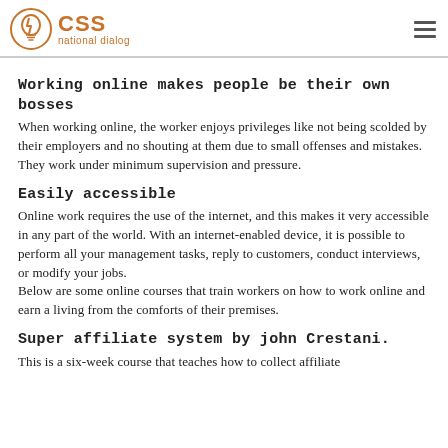CSS national dialog
Working online makes people be their own bosses
When working online, the worker enjoys privileges like not being scolded by their employers and no shouting at them due to small offenses and mistakes. They work under minimum supervision and pressure.
Easily accessible
Online work requires the use of the internet, and this makes it very accessible in any part of the world. With an internet-enabled device, it is possible to perform all your management tasks, reply to customers, conduct interviews, or modify your jobs. Below are some online courses that train workers on how to work online and earn a living from the comforts of their premises.
Super affiliate system by john Crestani.
This is a six-week course that teaches how to collect affiliate